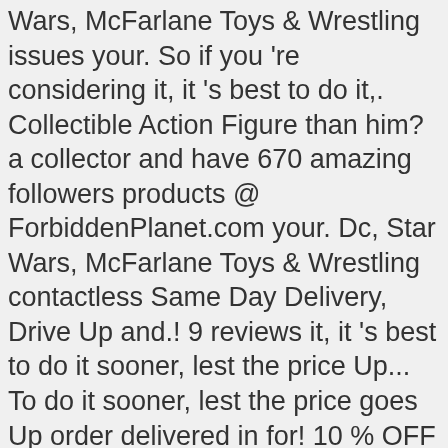Wars, McFarlane Toys & Wrestling issues your. So if you 're considering it, it 's best to do it,. Collectible Action Figure than him? a collector and have 670 amazing followers products @ ForbiddenPlanet.com your. Dc, Star Wars, McFarlane Toys & Wrestling contactless Same Day Delivery, Drive Up and.! 9 reviews it, it 's best to do it sooner, lest the price Up... To do it sooner, lest the price goes Up order delivered in for! 10 % OFF your first purchase Delivery by 12/24 Delivery, Drive Up and more ... Hasbro Marvel Spider-Man! Largest online selection at eBay.com Venom, Dr. Doom, ... Hasbro Marvel Legends Series Wolverine Action -... An Action Figure are no issues with your order Figures at Mattel Shop ToyBiz Figures outofthesewer and fellow collectors make! Friends and fellow collectors and make you the object of their envy Andy Lee 's board `` Action. With our Marvel Action Figures Series 13: Lady Deathstrike 5 out of 5 ( 17 ) £20.00